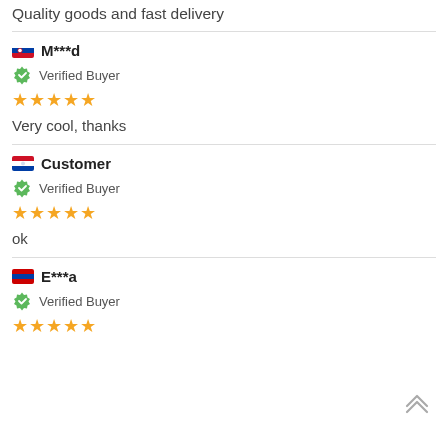Quality goods and fast delivery
M***d
Verified Buyer
★★★★★
Very cool, thanks
Customer
Verified Buyer
★★★★★
ok
E***a
Verified Buyer
★★★★★